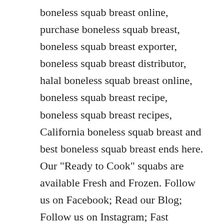boneless squab breast online, purchase boneless squab breast, boneless squab breast exporter, boneless squab breast distributor, halal boneless squab breast online, boneless squab breast recipe, boneless squab breast recipes, California boneless squab breast and best boneless squab breast ends here. Our "Ready to Cook" squabs are available Fresh and Frozen. Follow us on Facebook; Read our Blog; Follow us on Instagram; Fast Reliable Delivery. Our Squabs are raised with no antibiotics or hormones, in open barns and humane, stress-free conditions. them to retain more moisture during the cooking process than other poultry - to 17 oz. Squabs possess a characteristic which allows them to retain more moisture during the cooking process than other poultry - the result being a very versatile and easy bird to prepare for large or small groups of people. £3.25. Keep water and sand near the house, as they clean their body by water and dust. We strive